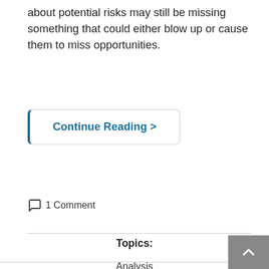about potential risks may still be missing something that could either blow up or cause them to miss opportunities.
Continue Reading >
1 Comment
Topics:
Analysis
Risk Management
Assessment